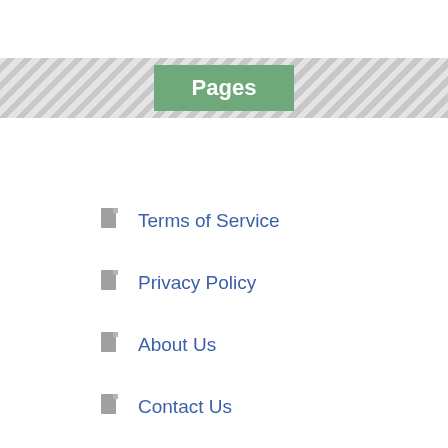Pages
Terms of Service
Privacy Policy
About Us
Contact Us
Advertise
Subscribe
[Figure (other): Dark rounded badge showing a walking person icon and the number 29]
This website uses cookies to improve your experience. We'll assume you're ok with this, but you can opt-out if you wish.
Accept   Reject   Read More